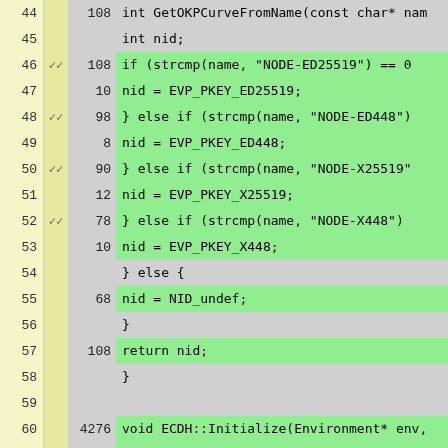[Figure (screenshot): Code coverage view showing C++ source lines 44-70, with line numbers, checkmark/coverage indicators, hit counts, and source code. Green background indicates covered lines, gray indicates uncovered/blank lines.]